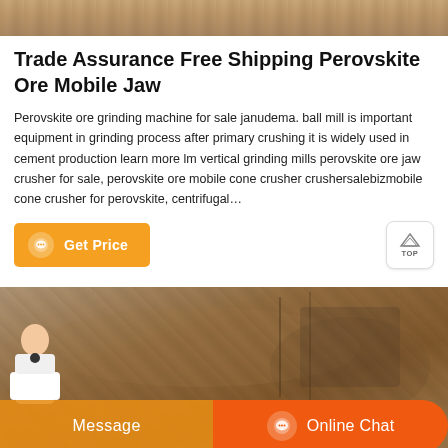[Figure (photo): Top strip image showing rocky/sandy ground texture]
Trade Assurance Free Shipping Perovskite Ore Mobile Jaw
Perovskite ore grinding machine for sale janudema. ball mill is important equipment in grinding process after primary crushing it is widely used in cement production learn more lm vertical grinding mills perovskite ore jaw crusher for sale, perovskite ore mobile cone crusher crushersalebizmobile cone crusher for perovskite, centrifugal…
[Figure (photo): Bottom image showing a quarry/mining site with rocky walls and machinery, with orange Message and Online Chat buttons overlaid at the bottom, and a customer service agent photo on the left]